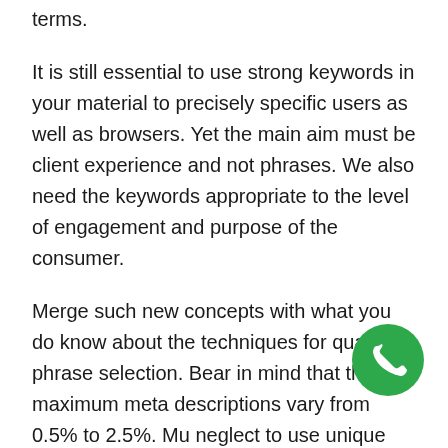terms.
It is still essential to use strong keywords in your material to precisely specific users as well as browsers. Yet the main aim must be client experience and not phrases. We also need the keywords appropriate to the level of engagement and purpose of the consumer.
Merge such new concepts with what you do know about the techniques for qualified phrase selection. Bear in mind that the maximum meta descriptions vary from 0.5% to 2.5%. Mu neglect to use unique location phrases to help readers locate your retail space page.
Navigation List: